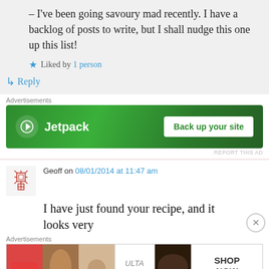– I've been going savoury mad recently. I have a backlog of posts to write, but I shall nudge this one up this list!
Liked by 1 person
↳ Reply
Advertisements
[Figure (screenshot): Jetpack advertisement banner: green background with Jetpack logo and 'Back up your site' button]
REPORT THIS AD
Geoff on 08/01/2014 at 11:47 am
I have just found your recipe, and it looks very
Advertisements
[Figure (screenshot): Ulta beauty advertisement banner showing makeup images with SHOP NOW button]